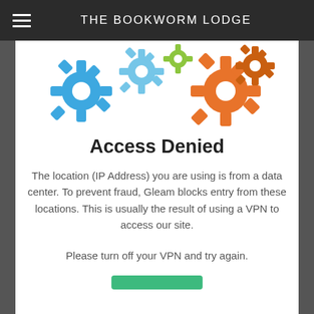THE BOOKWORM LODGE
[Figure (illustration): Colorful gear/cog icons in blue, light blue, green, yellow-green, orange, and dark orange arranged at the top of the content area]
Access Denied
The location (IP Address) you are using is from a data center. To prevent fraud, Gleam blocks entry from these locations. This is usually the result of using a VPN to access our site.
Please turn off your VPN and try again.